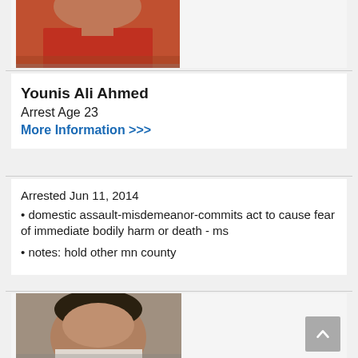[Figure (photo): Top portion of a mugshot photo showing a person wearing a red shirt, cropped at the top of the page]
Younis Ali Ahmed
Arrest Age 23
More Information >>>
Arrested Jun 11, 2014
domestic assault-misdemeanor-commits act to cause fear of immediate bodily harm or death - ms
notes: hold other mn county
[Figure (photo): Mugshot photo showing a person with dark hair against a gray background, cropped at bottom of page]